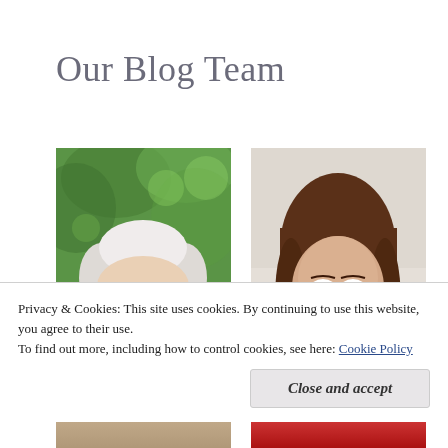Our Blog Team
[Figure (photo): Two portrait photos side by side: left photo shows an elderly woman with short white hair against a green leafy background; right photo shows a younger smiling woman with long brown hair wearing a red plaid shirt against a light background.]
Privacy & Cookies: This site uses cookies. By continuing to use this website, you agree to their use.
To find out more, including how to control cookies, see here: Cookie Policy
Close and accept